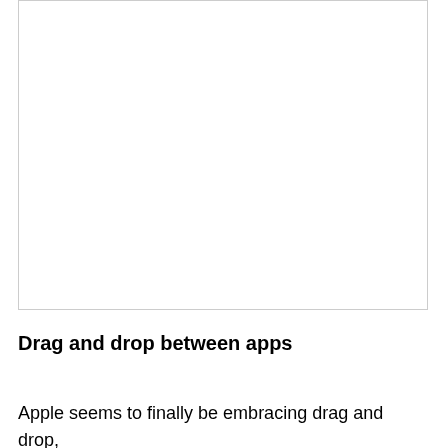[Figure (other): Large blank/white image area with a border outline, occupying the upper portion of the page.]
Drag and drop between apps
Apple seems to finally be embracing drag and drop,